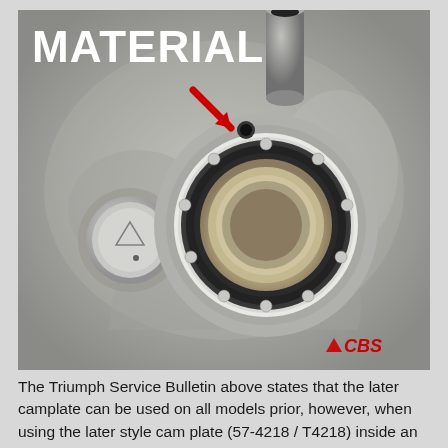[Figure (photo): Close-up photograph of a motorcycle engine camplate/bearing housing (Triumph engine). Shows a large ball bearing race mounted in an aluminum crankcase. A red arrow points to a small oil hole or locating hole above the bearing. The image has 'MATERIAL' text overlay in bold white at the top left, and a 'CBS' logo watermark in red at the bottom right.]
The Triumph Service Bulletin above states that the later camplate can be used on all models prior, however, when using the later style cam plate (57-4218 / T4218) inside an early motor (pre-1971) you might be forced